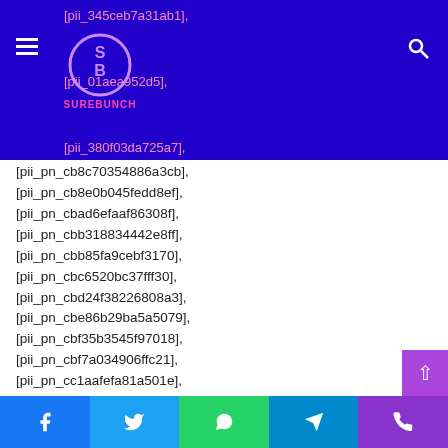[Figure (screenshot): SureBunch website header with purple background, hamburger menu icon, SureBunch logo (circular SB emblem with SUREBUNCH text), search icon, and partially visible list items in pink text]
[pii_pn_cb8c70354886a3cb],
[pii_pn_cb8e0b045fedd8ef],
[pii_pn_cbad6efaaf86308f],
[pii_pn_cbb318834442e8ff],
[pii_pn_cbb85fa9cebf3170],
[pii_pn_cbc6520bc37fff30],
[pii_pn_cbd24f38226808a3],
[pii_pn_cbe86b29ba5a5079],
[pii_pn_cbf35b3545f97018],
[pii_pn_cbf7a034906ffc21],
[pii_pn_cc1aafefa81a501e],
[pii_pn_cc1c21894e3e3f2d],
[pii_pn_cc829aa4ea6a94a9037f],